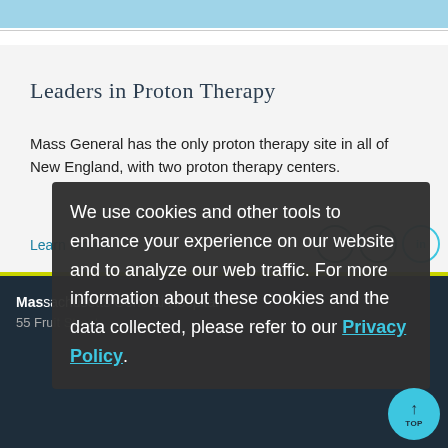Leaders in Proton Therapy
Mass General has the only proton therapy site in all of New England, with two proton therapy centers.
Learn more ›
We use cookies and other tools to enhance your experience on our website and to analyze our web traffic. For more information about these cookies and the data collected, please refer to our Privacy Policy.
Massachusetts General Hospital
55 Fruit Street